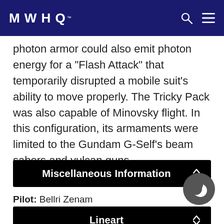MWHQ
photon armor could also emit photon energy for a “Flash Attack” that temporarily disrupted a mobile suit’s ability to move properly. The Tricky Pack was also capable of Minovsky flight. In this configuration, its armaments were limited to the Gundam G-Self’s beam sabers and vulcan guns.
Miscellaneous Information
Pilot: Bellri Zenam
First appearance: Gundam Reconguista in G
Original mechanical designer: Akira Yasuda
Lineart